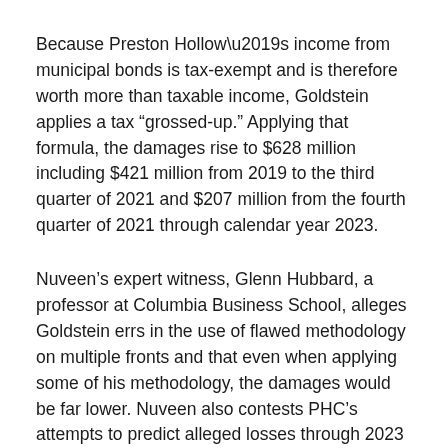Because Preston Hollow’s income from municipal bonds is tax-exempt and is therefore worth more than taxable income, Goldstein applies a tax “grossed-up.” Applying that formula, the damages rise to $628 million including $421 million from 2019 to the third quarter of 2021 and $207 million from the fourth quarter of 2021 through calendar year 2023.
Nuveen’s expert witness, Glenn Hubbard, a professor at Columbia Business School, alleges Goldstein errs in the use of flawed methodology on multiple fronts and that even when applying some of his methodology, the damages would be far lower. Nuveen also contests PHC’s attempts to predict alleged losses through 2023 and wants Goldstein’s overall testimony excluded.